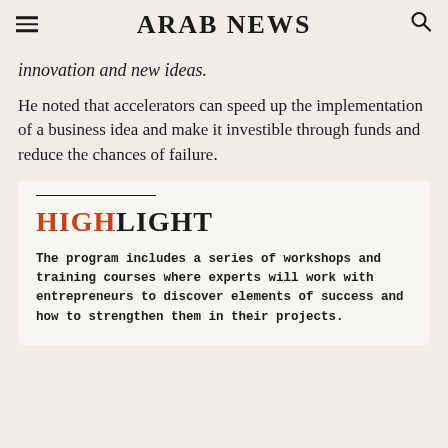ARAB NEWS
innovation and new ideas.
He noted that accelerators can speed up the implementation of a business idea and make it investible through funds and reduce the chances of failure.
HIGHLIGHT
The program includes a series of workshops and training courses where experts will work with entrepreneurs to discover elements of success and how to strengthen them in their projects.